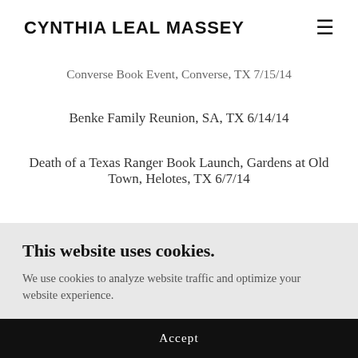CYNTHIA LEAL MASSEY
Converse Book Event, Converse, TX 7/15/14
Benke Family Reunion, SA, TX 6/14/14
Death of a Texas Ranger Book Launch, Gardens at Old Town, Helotes, TX 6/7/14
This website uses cookies.
We use cookies to analyze website traffic and optimize your website experience.
Accept